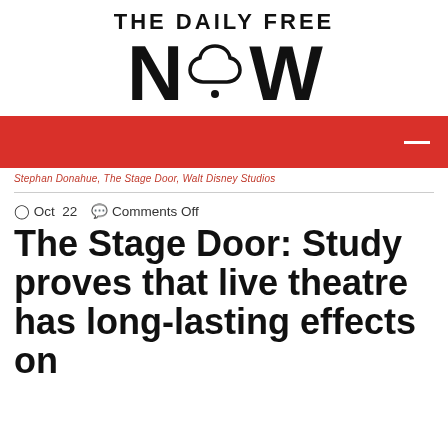[Figure (logo): The Daily Free Now logo - bold black text with a cloud shape replacing the letter O in NOW]
[Figure (other): Red navigation bar with white hamburger/menu icon on the right]
Stephan Donahue, The Stage Door, Walt Disney Studios
Oct 22  Comments Off
The Stage Door: Study proves that live theatre has long-lasting effects on